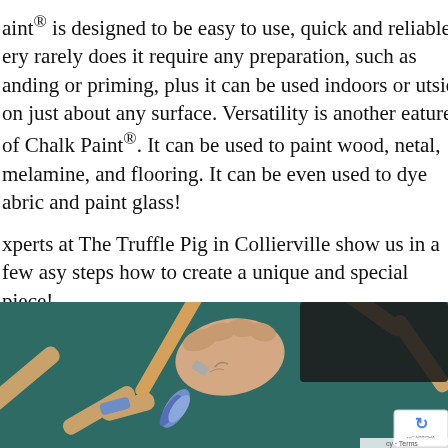aint® is designed to be easy to use, quick and reliable. ery rarely does it require any preparation, such as anding or priming, plus it can be used indoors or utside on just about any surface. Versatility is another eature of Chalk Paint®. It can be used to paint wood, netal, melamine, and flooring. It can be even used to dye abric and paint glass!
xperts at The Truffle Pig in Collierville show us in a few asy steps how to create a unique and special piece!
[Figure (photo): A hand holding a paintbrush applying blue chalk paint to a wooden surface, with several wooden chair legs visible in the background against a teal/dark green backdrop. A reCAPTCHA badge is visible in the bottom-right corner.]